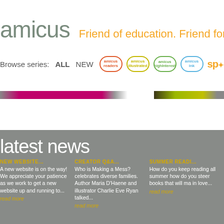[Figure (logo): Amicus publisher logo with tagline 'Friend of education. Friend for life.']
Browse series: ALL NEW amicus readers amicus illustrated amicus highinterest amicus ink sp...
[Figure (illustration): Three horizontal book cover strip images for different series]
latest news
NEW WEBSITE...
A new website is on the way! We appreciate your patience as we work to get a new website up and running to...
read more
CREATOR Q&A...
Who is Making a Mess? celebrates diverse families. Author Maria D'Haene and illustrator Charlie Eve Ryan talked...
read more
SUMMER READI...
How do you keep reading all summer how do you steer books that will ma in love...
read more